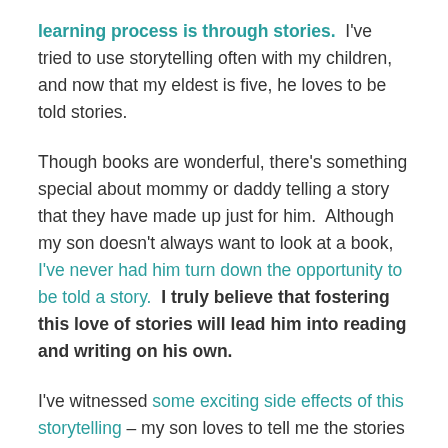learning process is through stories. I've tried to use storytelling often with my children, and now that my eldest is five, he loves to be told stories.
Though books are wonderful, there's something special about mommy or daddy telling a story that they have made up just for him. Although my son doesn't always want to look at a book, I've never had him turn down the opportunity to be told a story. I truly believe that fostering this love of stories will lead him into reading and writing on his own.
I've witnessed some exciting side effects of this storytelling – my son loves to tell me the stories that his daddy has told him and vice versus. Although he may exaggerate the details a little, I know that his comprehension is good, and this is something that